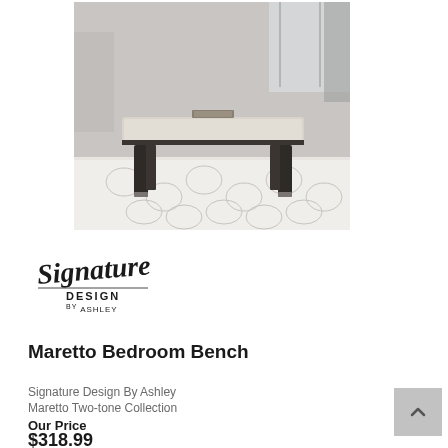[Figure (photo): Maretto bedroom bench with light beige upholstered seat and dark espresso wooden legs, displayed on a white geometric patterned rug in a bedroom setting]
[Figure (logo): Signature Design by Ashley logo in cursive and sans-serif text]
Maretto Bedroom Bench
Signature Design By Ashley
Maretto Two-tone Collection
Our Price
$318.99